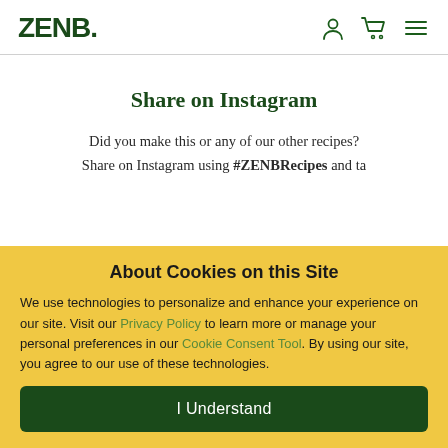ZENB.
Share on Instagram
Did you make this or any of our other recipes? Share on Instagram using #ZENBRecipes and ta...
About Cookies on this Site
We use technologies to personalize and enhance your experience on our site. Visit our Privacy Policy to learn more or manage your personal preferences in our Cookie Consent Tool. By using our site, you agree to our use of these technologies.
I Understand